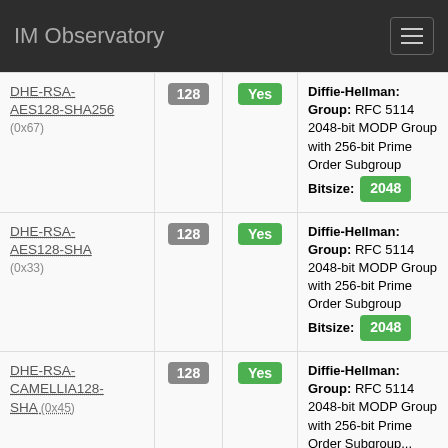IM Observatory
| Cipher | Bits | FS | Details |
| --- | --- | --- | --- |
| DHE-RSA-AES128-SHA256 (0x67) | 128 | Yes | Diffie-Hellman: Group: RFC 5114 2048-bit MODP Group with 256-bit Prime Order Subgroup Bitsize: 2048 |
| DHE-RSA-AES128-SHA (0x33) | 128 | Yes | Diffie-Hellman: Group: RFC 5114 2048-bit MODP Group with 256-bit Prime Order Subgroup Bitsize: 2048 |
| DHE-RSA-CAMELLIA128-SHA (0x45) | 128 | Yes | Diffie-Hellman: Group: RFC 5114 2048-bit MODP Group with 256-bit Prime Order Subgroup ... |